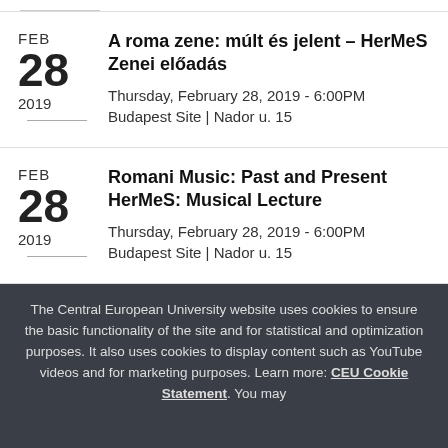A roma zene: múlt és jelent – HerMeS Zenei előadás
Thursday, February 28, 2019 - 6:00PM
Budapest Site | Nador u. 15
Romani Music: Past and Present HerMeS: Musical Lecture
Thursday, February 28, 2019 - 6:00PM
Budapest Site | Nador u. 15
The Central European University website uses cookies to ensure the basic functionality of the site and for statistical and optimization purposes. It also uses cookies to display content such as YouTube videos and for marketing purposes. Learn more: CEU Cookie Statement. You may